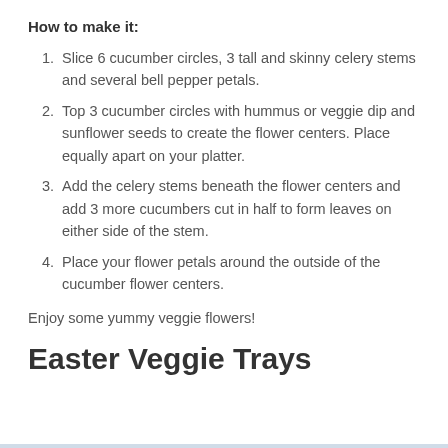How to make it:
Slice 6 cucumber circles, 3 tall and skinny celery stems and several bell pepper petals.
Top 3 cucumber circles with hummus or veggie dip and sunflower seeds to create the flower centers. Place equally apart on your platter.
Add the celery stems beneath the flower centers and add 3 more cucumbers cut in half to form leaves on either side of the stem.
Place your flower petals around the outside of the cucumber flower centers.
Enjoy some yummy veggie flowers!
Easter Veggie Trays